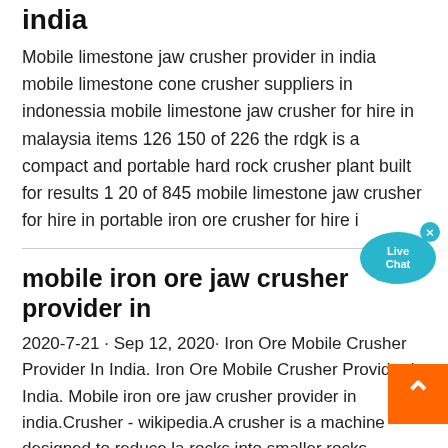india
Mobile limestone jaw crusher provider in india mobile limestone cone crusher suppliers in indonessia mobile limestone jaw crusher for hire in malaysia items 126 150 of 226 the rdgk is a compact and portable hard rock crusher plant built for results 1 20 of 845 mobile limestone jaw crusher for hire in portable iron ore crusher for hire i
[Figure (illustration): Live Chat bubble icon with teal color and x close button]
mobile iron ore jaw crusher provider in
2020-7-21 · Sep 12, 2020· Iron Ore Mobile Crusher Provider In India. Iron Ore Mobile Crusher Provider In India. Mobile iron ore jaw crusher provider in india.Crusher - wikipedia.A crusher is a machine designed to reduce la rocks into smaller rocks, gravel, or rock dust.Some crushers are mobile and can crush rocks as large as 60
[Figure (illustration): Orange back-to-top button with white upward arrow]